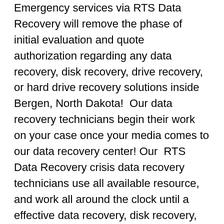Emergency services via RTS Data Recovery will remove the phase of initial evaluation and quote authorization regarding any data recovery, disk recovery, drive recovery, or hard drive recovery solutions inside Bergen, North Dakota!  Our data recovery technicians begin their work on your case once your media comes to our data recovery center! Our  RTS Data Recovery crisis data recovery technicians use all available resource, and work all around the clock until a effective data recovery, disk recovery, drive recovery or hard drive recovery is produced!  RTS has knowledge that your time inside Bergen, North Dakota is significant and our RTS Data Recovery crisis data recovery technicians work hard to be certain your own data is rescued!  Our enterprise is actually data recovery, and we will help make certain your own consumer experience inside Bergen, North Dakota is without a doubt the best inside the market!  Let RTS Data Recovery get started your data recovery job today! In numerous situations, RTS Data Recovery can